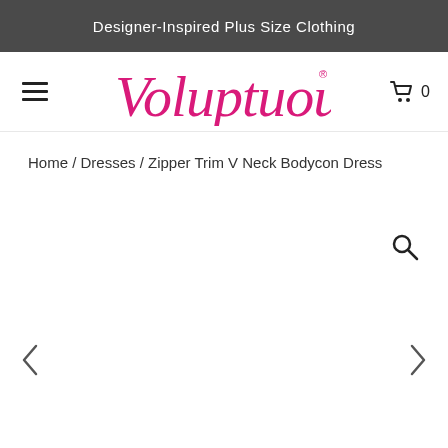Designer-Inspired Plus Size Clothing
[Figure (logo): Voluptuous script logo in pink/magenta with registered trademark symbol]
Home / Dresses / Zipper Trim V Neck Bodycon Dress